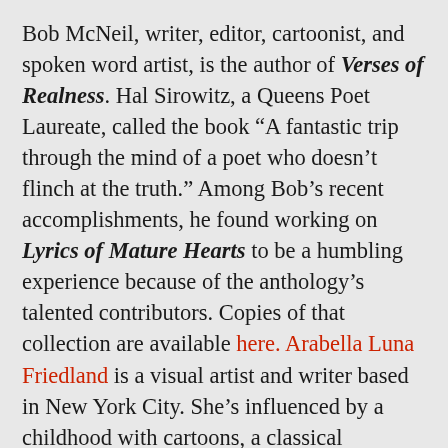Bob McNeil, writer, editor, cartoonist, and spoken word artist, is the author of Verses of Realness. Hal Sirowitz, a Queens Poet Laureate, called the book “A fantastic trip through the mind of a poet who doesn’t flinch at the truth.” Among Bob’s recent accomplishments, he found working on Lyrics of Mature Hearts to be a humbling experience because of the anthology’s talented contributors. Copies of that collection are available here. Arabella Luna Friedland is a visual artist and writer based in New York City. She’s influenced by a childhood with cartoons, a classical education in anatomy and life drawing,